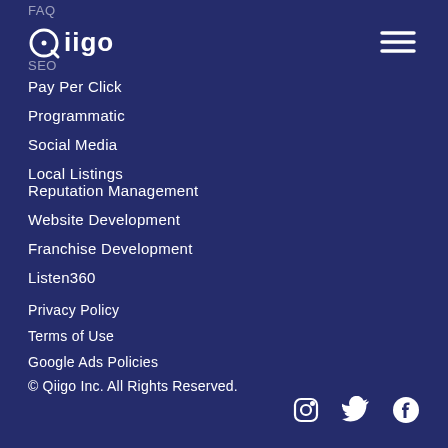FAQ
[Figure (logo): Qiigo logo - white text on dark blue background]
[Figure (other): Hamburger menu icon]
SEO
Pay Per Click
Programmatic
Social Media
Local Listings
Reputation Management
Website Development
Franchise Development
Listen360
Privacy Policy
Terms of Use
Google Ads Policies
© Qiigo Inc. All Rights Reserved.
[Figure (other): Social media icons: Instagram, Twitter, Facebook]